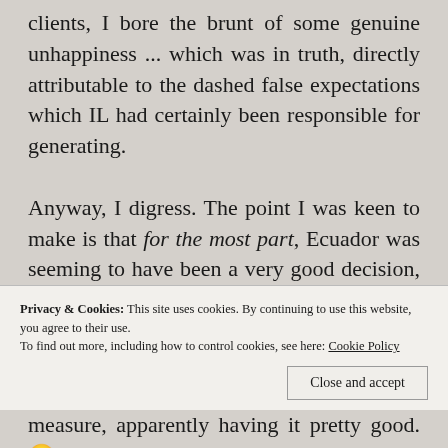clients, I bore the brunt of some genuine unhappiness ... which was in truth, directly attributable to the dashed false expectations which IL had certainly been responsible for generating.

Anyway, I digress. The point I was keen to make is that for the most part, Ecuador was seeming to have been a very good decision, not just for me, but for many. The vast majority of those who came here were happy here (once they
Privacy & Cookies: This site uses cookies. By continuing to use this website, you agree to their use.
To find out more, including how to control cookies, see here: Cookie Policy
Close and accept
measure, apparently having it pretty good. 🙂